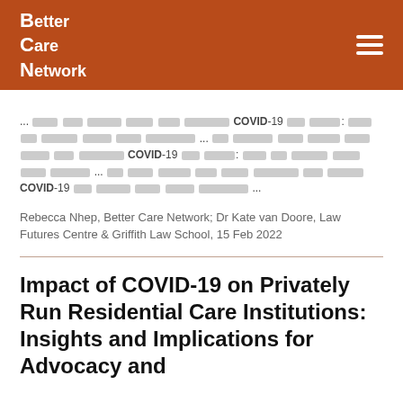Better Care Network
... [blurred text] COVID-19 [blurred text] ... [blurred text] COVID-19 [blurred text] ... [blurred text] COVID-19 [blurred text] ...
Rebecca Nhep, Better Care Network; Dr Kate van Doore, Law Futures Centre & Griffith Law School, 15 Feb 2022
Impact of COVID-19 on Privately Run Residential Care Institutions: Insights and Implications for Advocacy and